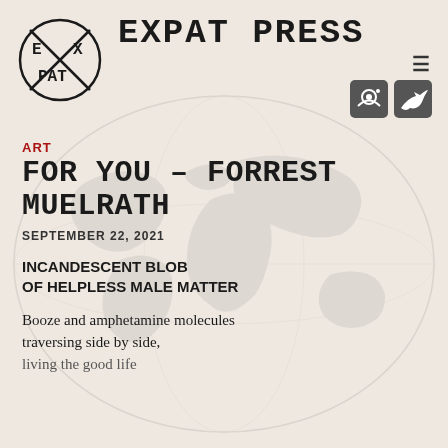[Figure (logo): Expat Press circular logo with E X / P A T text inside a circle with an X cross]
EXPAT PRESS
[Figure (illustration): Hamburger menu icon and social media icons for Instagram and Twitter]
[Figure (illustration): Faded world map watermark in background]
ART
FOR YOU – FORREST MUELRATH
SEPTEMBER 22, 2021
INCANDESCENT BLOB OF HELPLESS MALE MATTER
Booze and amphetamine molecules traversing side by side,